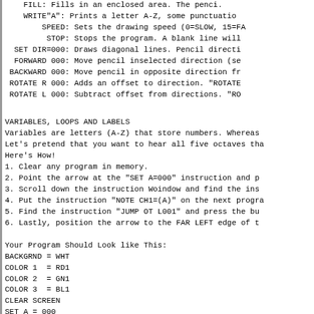FILL: Fills in an enclosed area. The penci
    WRITE"A": Prints a letter A-Z, some punctuatio
        SPEED: Sets the drawing speed (0=SLOW, 15=FA
         STOP: Stops the program. A blank line will
  SET DIR=000: Draws diagonal lines. Pencil directi
  FORWARD 000: Move pencil inselected direction (se
 BACKWARD 000: Move pencil in opposite direction fr
 ROTATE R 000: Adds an offset to direction. "ROTATE
 ROTATE L 000: Subtract offset from directions. "RO
VARIABLES, LOOPS AND LABELS
Variables are letters (A-Z) that store numbers. Whereas
Let's pretend that you want to hear all five octaves tha
Here's How!
1. Clear any program in memory.
2. Point the arrow at the "SET A=000" instruction and p
3. Scroll down the instruction Woindow and find the ins
4. Put the instruction "NOTE CH1=(A)" on the next progra
5. Find the instruction "JUMP OT L001" and press the bu
6. Lastly, position the arrow to the FAR LEFT edge of t
Your Program Should Look like This:
BACKGRND = WHT
COLOR 1  = RD1
COLOR 2  = GN1
COLOR 3  = BL1
CLEAR SCREEN
SET A = 000